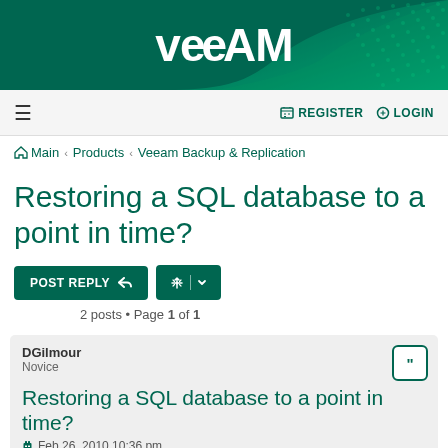Veeam
≡   REGISTER   LOGIN
Main › Products › Veeam Backup & Replication
Restoring a SQL database to a point in time?
POST REPLY   [tools]   2 posts • Page 1 of 1
DGilmour
Novice
Restoring a SQL database to a point in time?
Feb 26, 2010 10:36 pm
Greetings